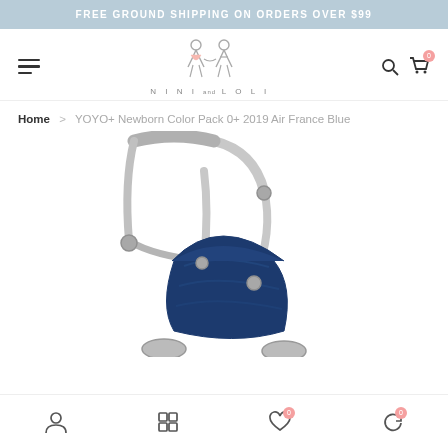FREE GROUND SHIPPING ON ORDERS OVER $99
[Figure (logo): NINI and LOLI brand logo with two stick figure children and text 'NINI and LOLI']
Home > YOYO+ Newborn Color Pack 0+ 2019 Air France Blue
[Figure (photo): YOYO+ stroller frame in gray/white with navy blue Air France color pack newborn insert, partial view cropped at bottom of page]
Bottom navigation bar with account, menu, wishlist (0), and cart/refresh (0) icons